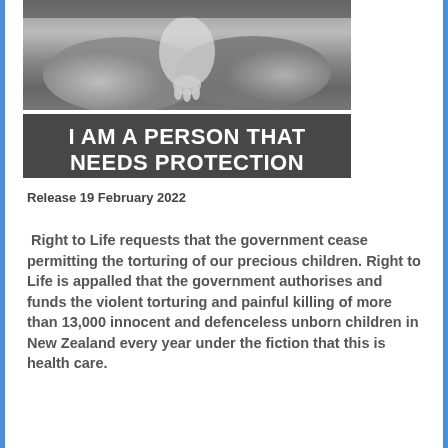[Figure (photo): Black and white photo of adult hands cradling a baby's hands/feet, with bold white text overlay reading 'I AM A PERSON THAT NEEDS PROTECTION']
Release 19 February 2022
Right to Life requests that the government cease permitting the torturing of our precious children. Right to Life is appalled that the government authorises and funds the violent torturing and painful killing of more than 13,000 innocent and defenceless unborn children in New Zealand every year under the fiction that this is health care.